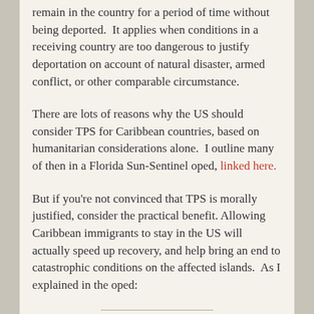remain in the country for a period of time without being deported.  It applies when conditions in a receiving country are too dangerous to justify deportation on account of natural disaster, armed conflict, or other comparable circumstance.
There are lots of reasons why the US should consider TPS for Caribbean countries, based on humanitarian considerations alone.  I outline many of then in a Florida Sun-Sentinel oped, linked here.
But if you're not convinced that TPS is morally justified, consider the practical benefit. Allowing Caribbean immigrants to stay in the US will actually speed up recovery, and help bring an end to catastrophic conditions on the affected islands.  As I explained in the oped:
TPS helps reverse the very conditions that make